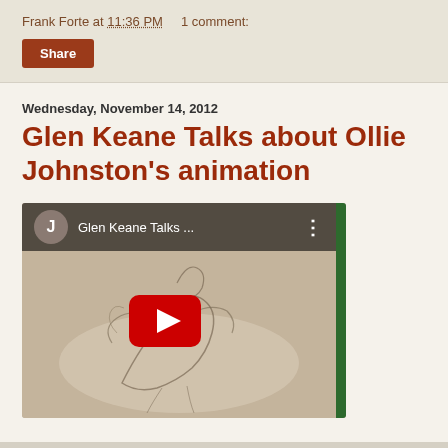Frank Forte at 11:36 PM    1 comment:
Share
Wednesday, November 14, 2012
Glen Keane Talks about Ollie Johnston's animation
[Figure (screenshot): YouTube video embed showing 'Glen Keane Talks ...' with a play button, avatar with letter J, sketch artwork in background, and green sidebar]